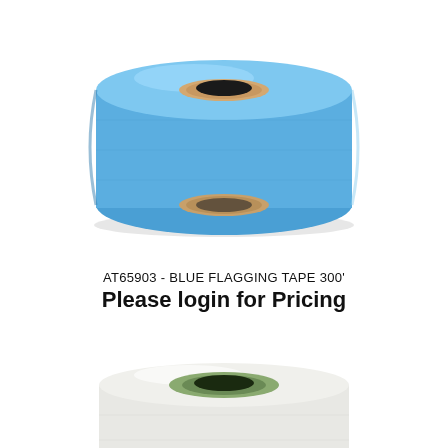[Figure (photo): Blue flagging tape roll, viewed from a slight angle showing the flat cylindrical shape with a cardboard core, wrapped in solid blue plastic tape.]
AT65903 - BLUE FLAGGING TAPE 300'
Please login for Pricing
[Figure (photo): White and green flagging tape roll, viewed from above at an angle, partially cropped at the bottom of the page.]